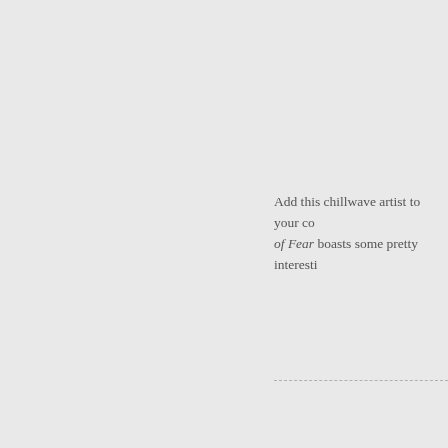Add this chillwave artist to your co… of Fear boasts some pretty interesti…